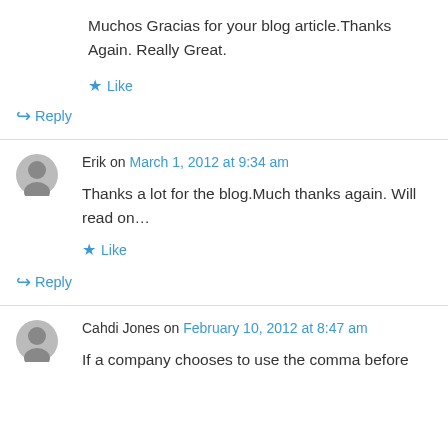Muchos Gracias for your blog article.Thanks Again. Really Great.
★ Like
↪ Reply
Erik on March 1, 2012 at 9:34 am
Thanks a lot for the blog.Much thanks again. Will read on…
★ Like
↪ Reply
Cahdi Jones on February 10, 2012 at 8:47 am
If a company chooses to use the comma before